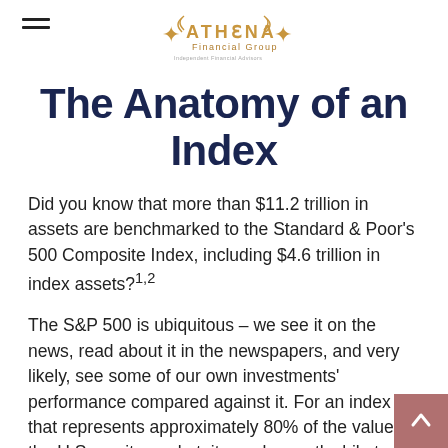ATHENA Financial Group
The Anatomy of an Index
Did you know that more than $11.2 trillion in assets are benchmarked to the Standard & Poor's 500 Composite Index, including $4.6 trillion in index assets?1,2
The S&P 500 is ubiquitous – we see it on the news, read about it in the newspapers, and very likely, see some of our own investments' performance compared against it. For an index that represents approximately 80% of the value of the U.S. equity market, it may be worthwhile to gain a better